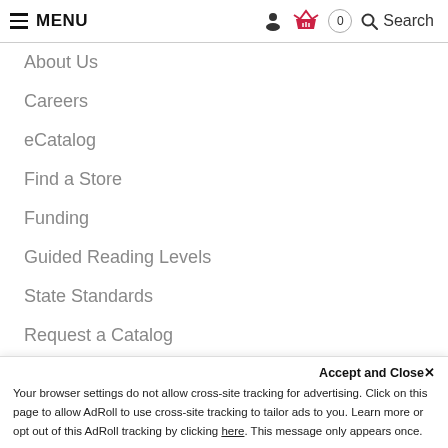MENU | Search
About Us
Careers
eCatalog
Find a Store
Funding
Guided Reading Levels
State Standards
Request a Catalog
CONTACT US
Address: 6262 Katella Ave, Cypress, CA 90630
Accept and Close ✕ Your browser settings do not allow cross-site tracking for advertising. Click on this page to allow AdRoll to use cross-site tracking to tailor ads to you. Learn more or opt out of this AdRoll tracking by clicking here. This message only appears once.